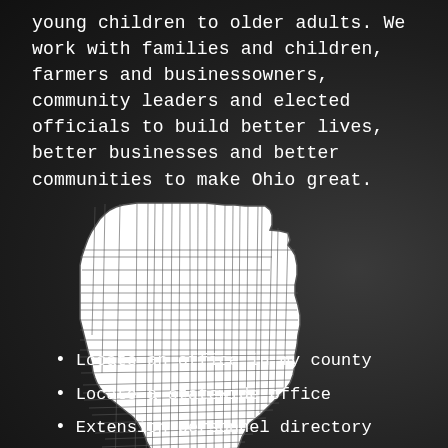young children to older adults. We work with families and children, farmers and businessowners, community leaders and elected officials to build better lives, better businesses and better communities to make Ohio great.
[Figure (map): Outline map of Ohio showing county boundaries, white fill on dark background.]
Locate an office in my county
Locate a statewide office
Extension personnel directory